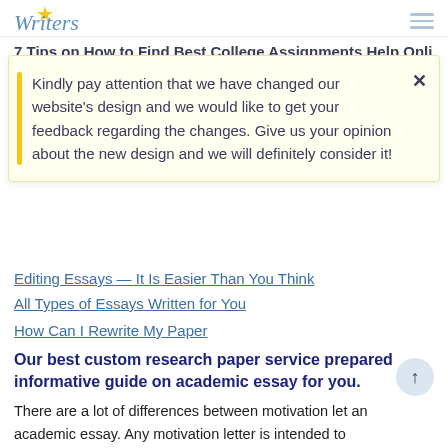Writers
7 Tips on How to Find Best College Assignments Help Onli
Kindly pay attention that we have changed our website's design and we would like to get your feedback regarding the changes. Give us your opinion about the new design and we will definitely consider it!
Editing Essays — It Is Easier Than You Think
All Types of Essays Written for You
How Can I Rewrite My Paper
Our best custom research paper service prepared informative guide on academic essay for you.
There are a lot of differences between motivation let an academic essay. Any motivation letter is intended to inform a reader about you as an individual and a student, describe your achievements and goals in the future.